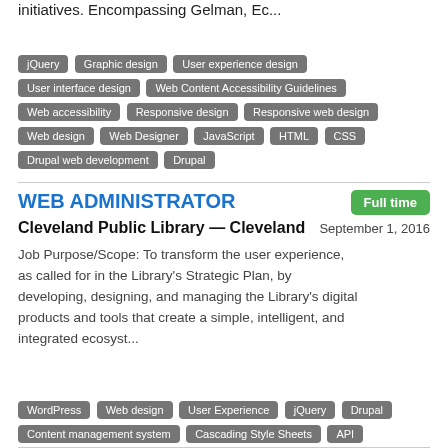initiatives. Encompassing Gelman, Ec...
jQuery, Graphic design, User experience design, User interface design, Web Content Accessibility Guidelines, Web accessibility, Responsive design, Responsive web design, Web design, Web Designer, JavaScript, HTML, CSS, Drupal web development, Drupal
WEB ADMINISTRATOR
Cleveland Public Library — Cleveland
September 1, 2016
Job Purpose/Scope: To transform the user experience, as called for in the Library's Strategic Plan, by developing, designing, and managing the Library's digital products and tools that create a simple, intelligent, and integrated ecosyst...
WordPress, Web design, User Experience, jQuery, Drupal, Content management system, Cascading Style Sheets, API